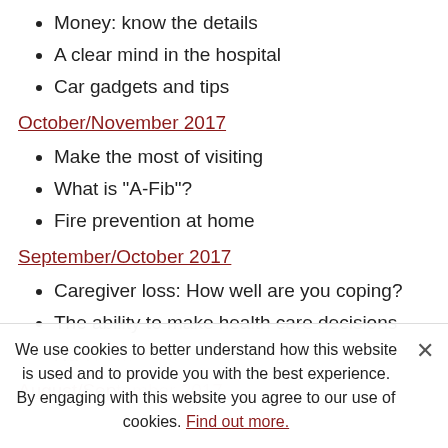Money: know the details
A clear mind in the hospital
Car gadgets and tips
October/November 2017
Make the most of visiting
What is "A-Fib"?
Fire prevention at home
September/October 2017
Caregiver loss: How well are you coping?
The ability to make health care decisions
Na…
August/September 2017
We use cookies to better understand how this website is used and to provide you with the best experience. By engaging with this website you agree to our use of cookies. Find out more.